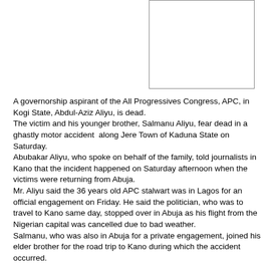[Figure (other): Blank white rectangular image placeholder]
A governorship aspirant of the All Progressives Congress, APC, in Kogi State, Abdul-Aziz Aliyu, is dead. The victim and his younger brother, Salmanu Aliyu, fear dead in a ghastly motor accident along Jere Town of Kaduna State on Saturday. Abubakar Aliyu, who spoke on behalf of the family, told journalists in Kano that the incident happened on Saturday afternoon when the victims were returning from Abuja. Mr. Aliyu said the 36 years old APC stalwart was in Lagos for an official engagement on Friday. He said the politician, who was to travel to Kano same day, stopped over in Abuja as his flight from the Nigerian capital was cancelled due to bad weather. Salmanu, who was also in Abuja for a private engagement, joined his elder brother for the road trip to Kano during which the accident occurred.